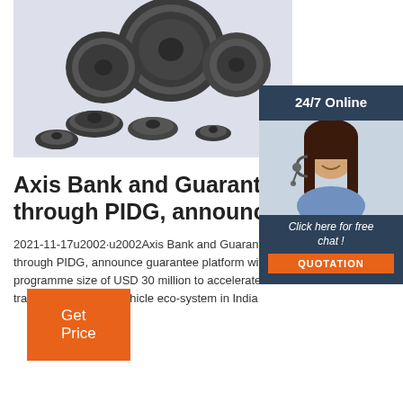[Figure (photo): Multiple black industrial belt pulleys of various sizes arranged on a light background]
[Figure (photo): 24/7 Online chat support widget showing a smiling female customer service agent with headset, with 'Click here for free chat!' text and an orange QUOTATION button]
Axis Bank and GuarantCo through PIDG, announce
2021-11-17u2002·u2002Axis Bank and GuarantCo, through PIDG, announce guarantee platform with a programme size of USD 30 million to accelerate transition to electric vehicle eco-system in India
Get Price